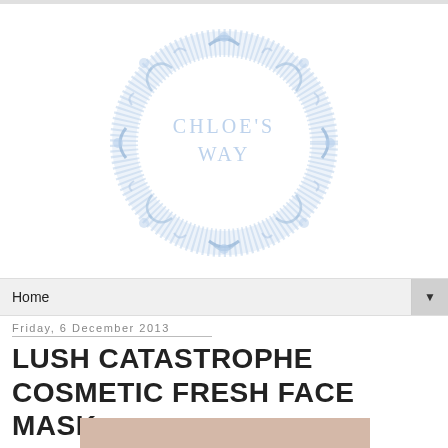[Figure (logo): Chloe's Way blog logo — decorative circular blue watercolor floral/scroll wreath border with text 'CHLOE'S WAY' in light blue inside]
Home
Friday, 6 December 2013
LUSH CATASTROPHE COSMETIC FRESH FACE MASK
[Figure (photo): Partial photo of a product, bottom portion cut off]